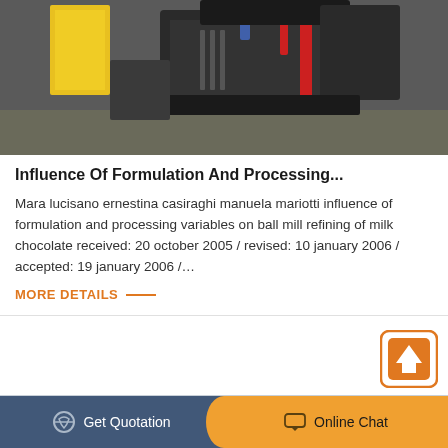[Figure (photo): Industrial machinery/equipment photo showing metal crushing or milling machine parts with yellow structural elements in a factory setting]
Influence Of Formulation And Processing...
Mara lucisano ernestina casiraghi manuela mariotti influence of formulation and processing variables on ball mill refining of milk chocolate received: 20 october 2005 / revised: 10 january 2006 / accepted: 19 january 2006 /…
MORE DETAILS
[Figure (photo): Exterior view of a white industrial building with street lamps and a red element visible on the right side]
Get Quotation   Online Chat